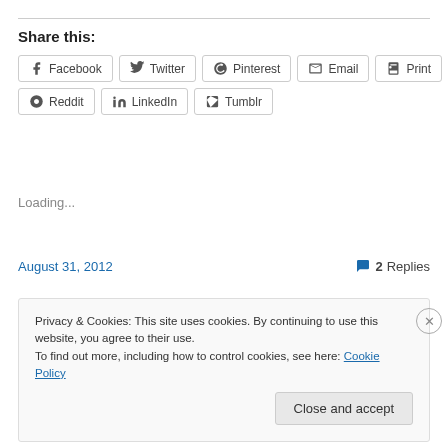Share this:
Facebook Twitter Pinterest Email Print Reddit LinkedIn Tumblr
Loading...
August 31, 2012
2 Replies
Privacy & Cookies: This site uses cookies. By continuing to use this website, you agree to their use. To find out more, including how to control cookies, see here: Cookie Policy
Close and accept